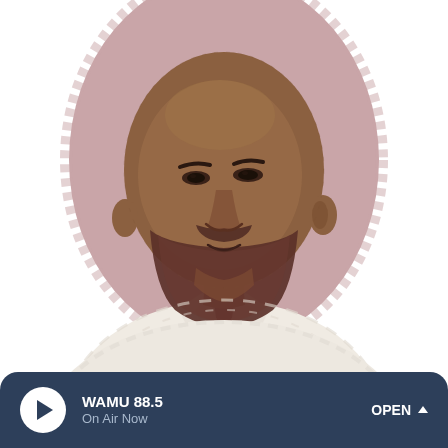[Figure (illustration): Illustrated portrait of a bald Black man with a beard, wearing a white dress shirt and dark burgundy/maroon tie, against a dusty rose/mauve oval background. The illustration uses a painterly, textured style with muted colors.]
WAMU 88.5 On Air Now OPEN ^